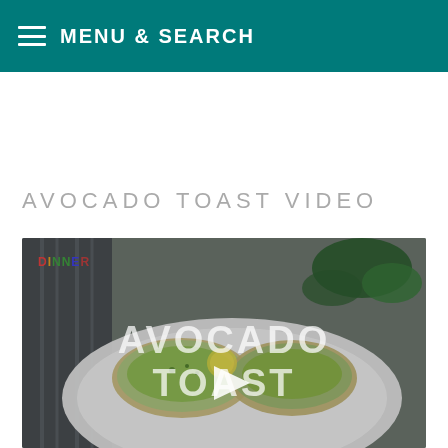MENU & SEARCH
AVOCADO TOAST VIDEO
[Figure (screenshot): Video thumbnail showing avocado toast on a plate with play button overlay and text 'AVOCADO TOAST'. A colorful 'DINNER' label appears in the top left corner.]